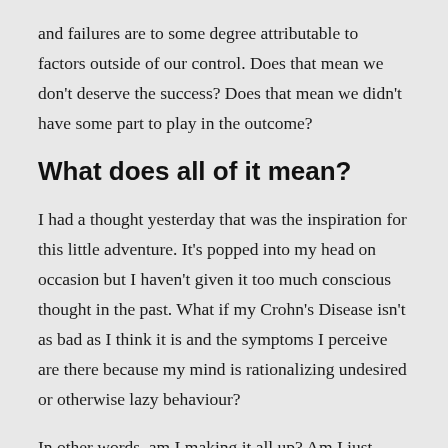and failures are to some degree attributable to factors outside of our control. Does that mean we don't deserve the success? Does that mean we didn't have some part to play in the outcome?
What does all of it mean?
I had a thought yesterday that was the inspiration for this little adventure. It's popped into my head on occasion but I haven't given it too much conscious thought in the past. What if my Crohn's Disease isn't as bad as I think it is and the symptoms I perceive are there because my mind is rationalizing undesired or otherwise lazy behaviour?
In other words, am I making it all up? Am I just using